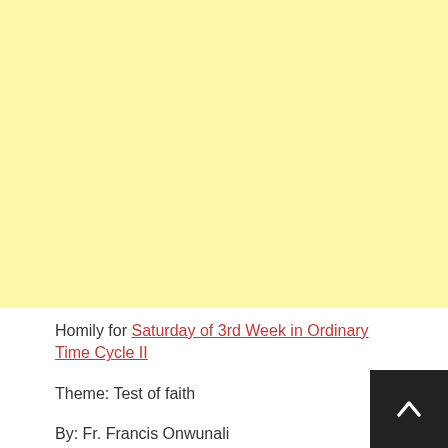[Figure (other): Large light yellow/cream colored rectangle occupying the top portion of the page]
Homily for Saturday of 3rd Week in Ordinary Time Cycle II
Theme: Test of faith
By: Fr. Francis Onwunali